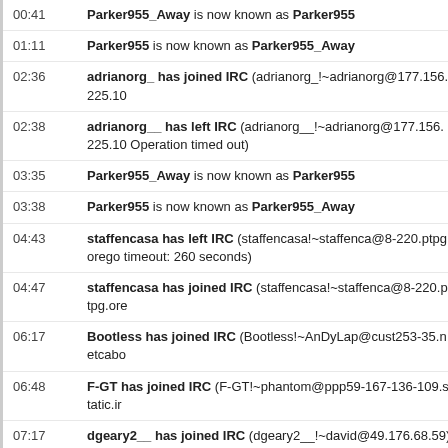00:41   Parker955_Away is now known as Parker955
01:11   Parker955 is now known as Parker955_Away
02:36   adrianorg_ has joined IRC (adrianorg_!~adrianorg@177.156.225.10…
02:38   adrianorg__ has left IRC (adrianorg__!~adrianorg@177.156.225.10… Operation timed out)
03:35   Parker955_Away is now known as Parker955
03:38   Parker955 is now known as Parker955_Away
04:43   staffencasa has left IRC (staffencasa!~staffenca@8-220.ptpg.orego… timeout: 260 seconds)
04:47   staffencasa has joined IRC (staffencasa!~staffenca@8-220.ptpg.ore…
06:17   Bootless has joined IRC (Bootless!~AnDyLap@cust253-35.netcabo…
06:48   F-GT has joined IRC (F-GT!~phantom@ppp59-167-136-109.static.ir…
07:17   dgeary2__ has joined IRC (dgeary2__!~david@49.176.68.59)
07:35   dgeary2_ has joined IRC (dgeary2_!~david@49.176.97.24)